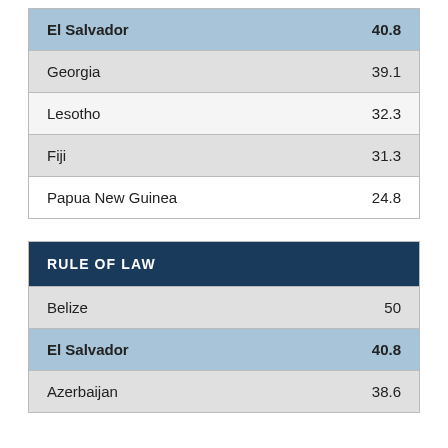| Country | Score |
| --- | --- |
| El Salvador | 40.8 |
| Georgia | 39.1 |
| Lesotho | 32.3 |
| Fiji | 31.3 |
| Papua New Guinea | 24.8 |
| RULE OF LAW |  |
| --- | --- |
| Belize | 50 |
| El Salvador | 40.8 |
| Azerbaijan | 38.6 |